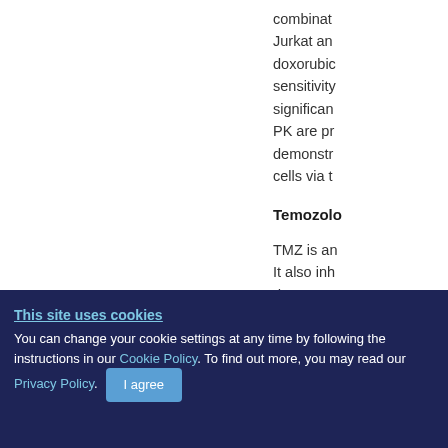combinat... Jurkat an... doxorubic... sensitivity... significan... PK are pr... demonstr... cells via t...
Temozolo...
TMZ is an... It also inh... demonstr... metabolis...
This site uses cookies
You can change your cookie settings at any time by following the instructions in our Cookie Policy. To find out more, you may read our Privacy Policy. I agree